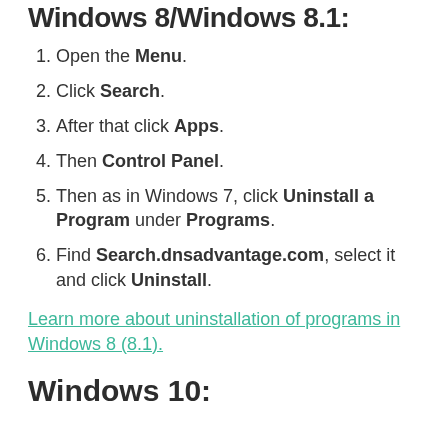Windows 8/Windows 8.1:
Open the Menu.
Click Search.
After that click Apps.
Then Control Panel.
Then as in Windows 7, click Uninstall a Program under Programs.
Find Search.dnsadvantage.com, select it and click Uninstall.
Learn more about uninstallation of programs in Windows 8 (8.1).
Windows 10: